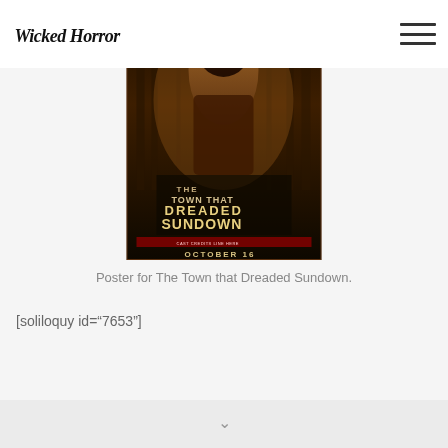Wicked Horror
[Figure (illustration): Movie poster for The Town that Dreaded Sundown, showing a dark hooded figure with trees in the background and text 'THE TOWN THAT DREADED SUNDOWN' and 'OCTOBER 16']
Poster for The Town that Dreaded Sundown.
[soliloquy id="7653"]